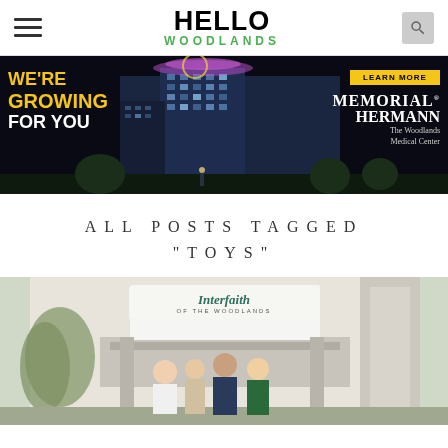HELLO WOODLANDS
[Figure (photo): Memorial Hermann The Woodlands Medical Center advertisement banner with text WE'RE GROWING FOR YOU on black background with building photo at night]
ALL POSTS TAGGED "TOYS"
[Figure (photo): Four people standing in front of Interfaith of the Woodlands building entrance sign]